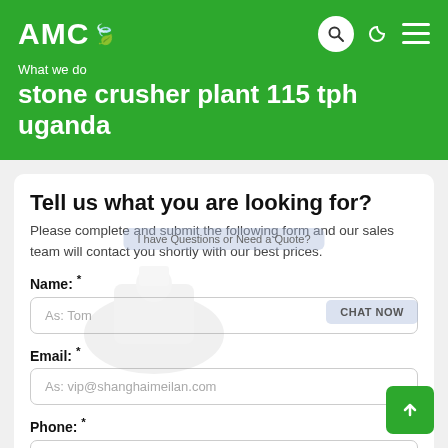AMC
What we do
stone crusher plant 115 tph uganda
Tell us what you are looking for?
Please complete and submit the following form and our sales team will contact you shortly with our best prices.
Name: *
As: Tom
Email: *
As: vip@shanghaimeilan.com
Phone: *
With Country Code